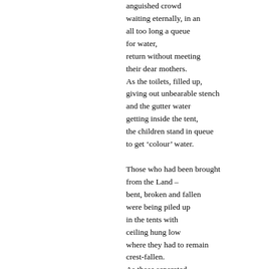anguished crowd
waiting eternally, in an
all too long a queue
for water,
return without meeting
their dear mothers.
As the toilets, filled up,
giving out unbearable stench
and the gutter water
getting inside the tent,
the children stand in queue
to get ‘colour’ water.

Those who had been brought
from the Land –
bent, broken and fallen
were being piled up
in the tents with
ceiling hung low
where they had to remain
crest-fallen.
As those separated-
As those searched and not fou
As those confined-
they fought against